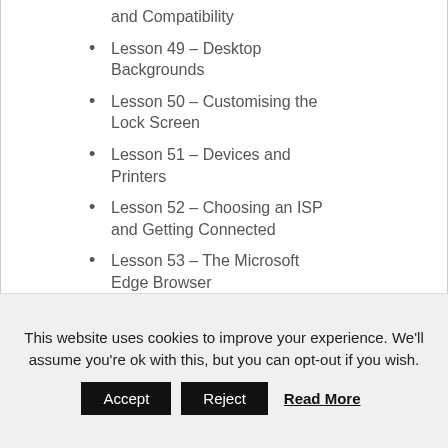and Compatibility
Lesson 49 – Desktop Backgrounds
Lesson 50 – Customising the Lock Screen
Lesson 51 – Devices and Printers
Lesson 52 – Choosing an ISP and Getting Connected
Lesson 53 – The Microsoft Edge Browser
Lesson 54 – Microsoft Edge Part 2
Lesson 55 – Homegroups
This website uses cookies to improve your experience. We'll assume you're ok with this, but you can opt-out if you wish. Accept Reject Read More